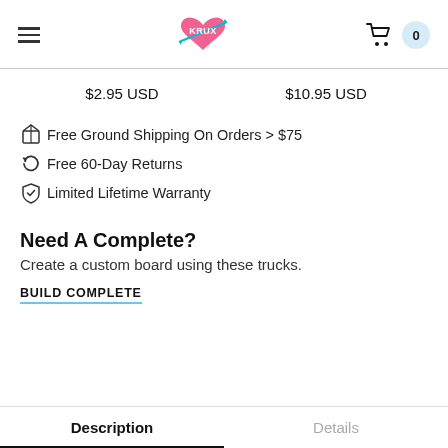KRUX logo, hamburger menu, cart with 0 items
$2.95 USD    $10.95 USD
Free Ground Shipping On Orders > $75
Free 60-Day Returns
Limited Lifetime Warranty
Need A Complete?
Create a custom board using these trucks.
BUILD COMPLETE
Description    Details